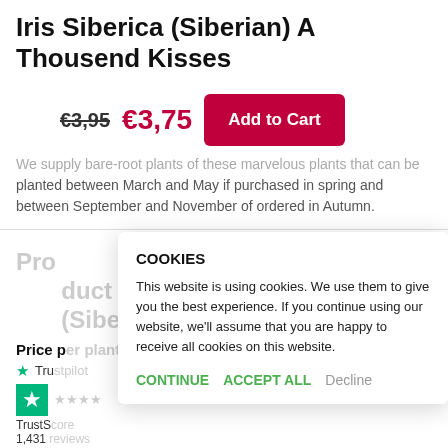Iris Siberica (Siberian) A Thousend Kisses
€3,95  €3,75  Add to Cart
We supply bare-root plants of these marvelous plants that can be planted between March and May if purchased in spring and between September and November of ordered in Autumn.
Product Details ( Iris Siberica (Siberian) A Thousend Kisses )
Price p...
TrustS... 1,431 ...
Suitable as cutting flower:   Yes
COOKIES
This website is using cookies. We use them to give you the best experience. If you continue using our website, we'll assume that you are happy to receive all cookies on this website.
CONTINUE  ACCEPT ALL  Decline